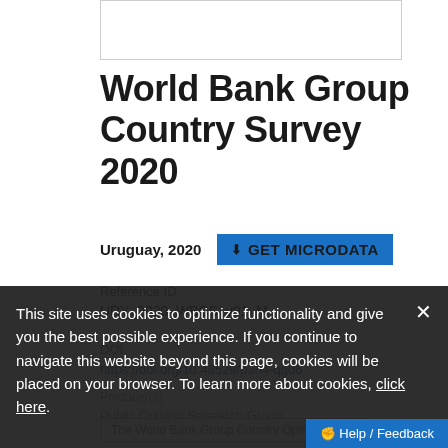[Figure (other): White rectangle box placeholder for image/logo at top of page]
World Bank Group Country Survey 2020
Uruguay, 2020
GET MICRODATA
Reference ID
URY_2020_WBCS_v01_M
DOI
https://doi.org/10.48529/p3h4-qg06
Producer(s)
Public Opinion Research Group
The World Bank Group Country Opin...
Metadata
This site uses cookies to optimize functionality and give you the best possible experience. If you continue to navigate this website beyond this page, cookies will be placed on your browser. To learn more about cookies, click here.
Help / Feedback